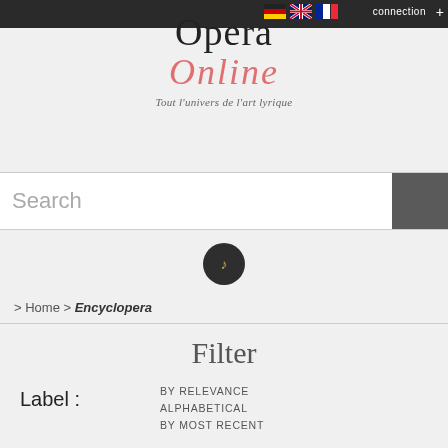[Figure (logo): Opera Online logo with 'Opera' in black serif and 'Online' in salmon/pink italic serif, with tagline 'Tout l'univers de l'art lyrique']
Search
[Figure (other): Dark circular icon with gold figures, representing user/community]
> Home > Encyclopera
Filter
Label :
BY RELEVANCE
ALPHABETICAL
BY MOST RECENT